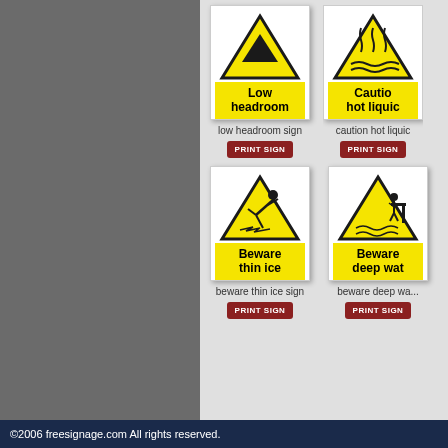[Figure (illustration): Safety warning sign: Low headroom. Yellow triangle with black downward-pointing triangle symbol, yellow banner with bold text 'Low headroom']
low headroom sign
[Figure (illustration): Safety warning sign: Caution hot liquids. Yellow triangle with hot liquid steam symbol, yellow banner with bold text 'Caution hot liquid' (partially visible)]
caution hot liquid (partially visible)
[Figure (illustration): Safety warning sign: Beware thin ice. Yellow triangle with person slipping on ice symbol, yellow banner with bold text 'Beware thin ice']
beware thin ice sign
[Figure (illustration): Safety warning sign: Beware deep water. Yellow triangle with person near water edge symbol, yellow banner with bold text 'Beware deep wat' (partially visible)]
beware deep wat (partially visible)
©2006 freesignage.com All rights reserved.